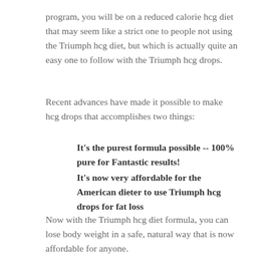program, you will be on a reduced calorie hcg diet that may seem like a strict one to people not using the Triumph hcg diet, but which is actually quite an easy one to follow with the Triumph hcg drops.
Recent advances have made it possible to make hcg drops that accomplishes two things:
It's the purest formula possible -- 100% pure for Fantastic results!
It's now very affordable for the American dieter to use Triumph hcg drops for fat loss
Now with the Triumph hcg diet formula, you can lose body weight in a safe, natural way that is now affordable for anyone.
The Four Benefits of the Triumph Hcg Diet.
Triumph HCG drops combine a revolutionary diet protocol with advanced science. This allows for a natural way for your body to burn an incredible amount of your stored fat and lose body weight fast. Now, by working with your body and not against it, you will lose body weight safely and quickly. Plus,